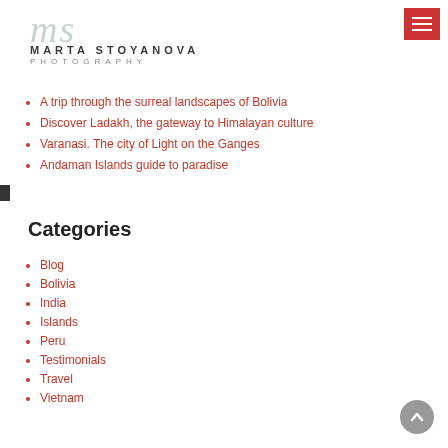[Figure (logo): Marta Stoyanova Photography logo with stylized 'ms' monogram in muted teal and text below]
A trip through the surreal landscapes of Bolivia
Discover Ladakh, the gateway to Himalayan culture
Varanasi. The city of Light on the Ganges
Andaman Islands guide to paradise
Categories
Blog
Bolivia
India
Islands
Peru
Testimonials
Travel
Vietnam